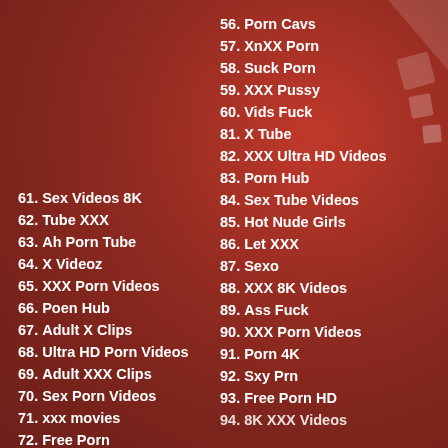56. Porn Cavs
57. XnXX Porn
58. Suck Porn
59. XXX Pussy
60. Vids Fuck
61. Sex Videos 8K
62. Tube XXX
63. Ah Porn Tube
64. X Videoz
65. XXX Porn Videos
66. Poen Hub
67. Adult X Clips
68. Ultra HD Porn Videos
69. Adult XXX Clips
70. Sex Porn Videos
71. xxx movies
72. Free Porn
73. Adult Tube
74. HQ Porn
81. X Tube
82. XXX Ultra HD Videos
83. Porn Hub
84. Sex Tube Videos
85. Hot Nude Girls
86. Let XXX
87. Sexo
88. XXX 8K Videos
89. Ass Fuck
90. XXX Porn Videos
91. Porn 4K
92. Sxy Prn
93. Free Porn HD
94. 8K XXX Videos